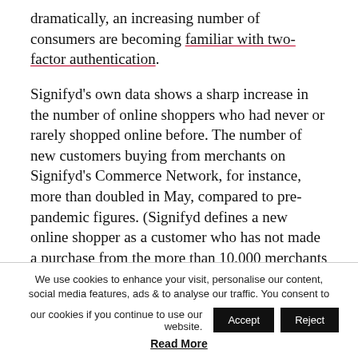dramatically, an increasing number of consumers are becoming familiar with two-factor authentication.
Signifyd's own data shows a sharp increase in the number of online shoppers who had never or rarely shopped online before. The number of new customers buying from merchants on Signifyd's Commerce Network, for instance, more than doubled in May, compared to pre-pandemic figures. (Signifyd defines a new online shopper as a customer who has not made a purchase from the more than 10,000 merchants on its global network for at least a year.)
The increase in the number of new shoppers arriving
We use cookies to enhance your visit, personalise our content, social media features, ads & to analyse our traffic. You consent to our cookies if you continue to use our website.